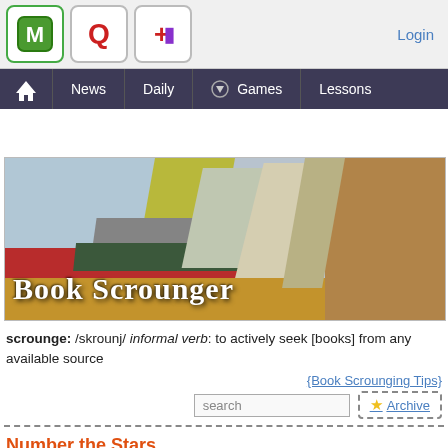Login
[Figure (screenshot): Navigation bar with icons (green M cube, red Q, red-purple puzzle piece) and nav items: Home, News, Daily, Games (with dropdown), Lessons. Login link top right.]
[Figure (photo): Book Scrounger banner image showing a stack of colorful books with 'Book Scrounger' text overlaid in white serif font.]
scrounge: /skrounj/ informal verb: to actively seek [books] from any available source
{Book Scrounging Tips}
search
Archive
Number the Stars